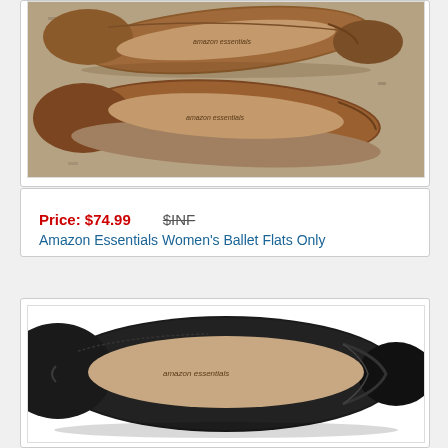[Figure (photo): Top-down view of brown Amazon Essentials ballet flats on granite surface]
Price: $74.99   $INF
Amazon Essentials Women's Ballet Flats Only
[Figure (photo): Top-down view of black Amazon Essentials ballet flat showing interior insole with amazon essentials branding]